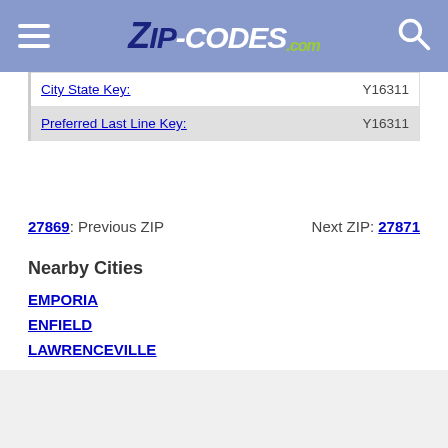ZIP-CODES.com
| Key | Value |
| --- | --- |
| City State Key: | Y16311 |
| Preferred Last Line Key: | Y16311 |
27869: Previous ZIP   Next ZIP: 27871
Nearby Cities
EMPORIA
ENFIELD
LAWRENCEVILLE
LITTLETON
More Offers
Downloadable ZIP Code Database
References
U.S. Postal Service [Last Updated: 8/1/2022], https://www.usps.com